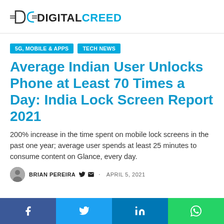[Figure (logo): Digital Creed logo with stylized DC icon and bold text DIGITALCREED]
5G, MOBILE & APPS
TECH NEWS
Average Indian User Unlocks Phone at Least 70 Times a Day: India Lock Screen Report 2021
200% increase in the time spent on mobile lock screens in the past one year; average user spends at least 25 minutes to consume content on Glance, every day.
BRIAN PEREIRA · APRIL 5, 2021
[Figure (infographic): Social sharing bar with Facebook, Twitter, LinkedIn, and WhatsApp buttons]